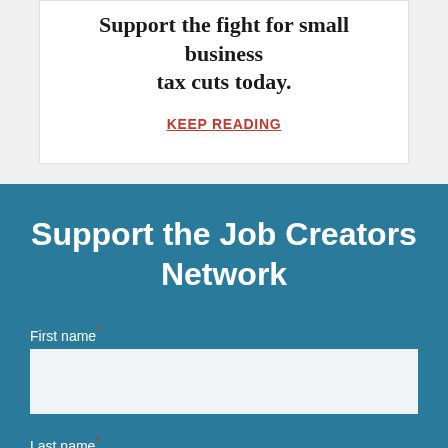Support the fight for small business tax cuts today.
KEEP READING
Support the Job Creators Network
First name *
Last name *